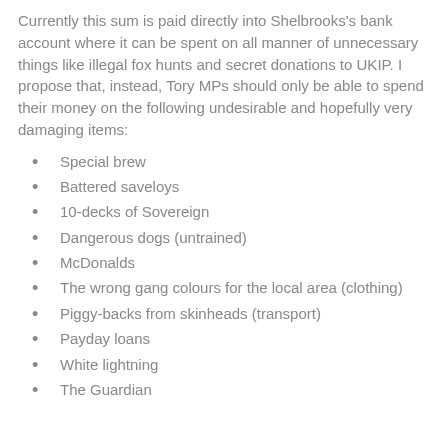Currently this sum is paid directly into Shelbrooks's bank account where it can be spent on all manner of unnecessary things like illegal fox hunts and secret donations to UKIP. I propose that, instead, Tory MPs should only be able to spend their money on the following undesirable and hopefully very damaging items:
Special brew
Battered saveloys
10-decks of Sovereign
Dangerous dogs (untrained)
McDonalds
The wrong gang colours for the local area (clothing)
Piggy-backs from skinheads (transport)
Payday loans
White lightning
The Guardian